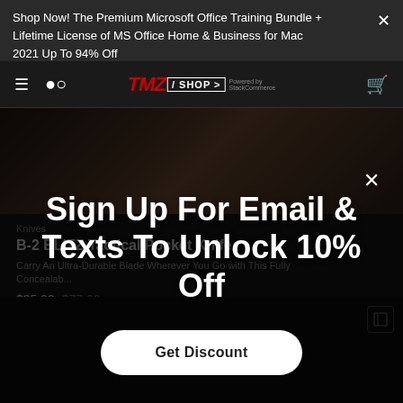Shop Now! The Premium Microsoft Office Training Bundle + Lifetime License of MS Office Home & Business for Mac 2021 Up To 94% Off
[Figure (screenshot): TMZ Shop navigation bar with hamburger menu, search icon, TMZ Shop logo, and cart icon on dark background]
[Figure (photo): Dark textured wood/bark background hero image]
Knives
B-2 BLITZ Tactical Pocket Knife
Carry An Ultra-Durable Blade Wherever You Go with This Fully Concealab...
$35.99 $77.00
★★★★☆ Reviews
Sign Up For Email & Texts To Unlock 10% Off
Get Discount
[Figure (photo): Dark product image area at bottom of page]